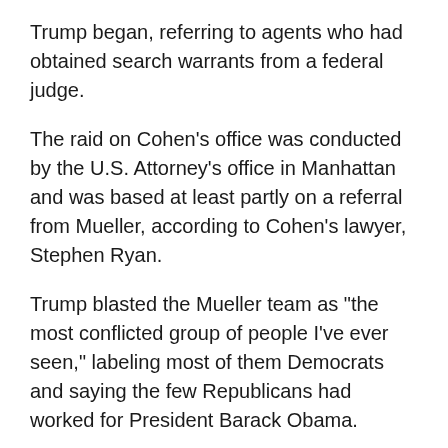Trump began, referring to agents who had obtained search warrants from a federal judge.
The raid on Cohen's office was conducted by the U.S. Attorney's office in Manhattan and was based at least partly on a referral from Mueller, according to Cohen's lawyer, Stephen Ryan.
Trump blasted the Mueller team as "the most conflicted group of people I've ever seen," labeling most of them Democrats and saying the few Republicans had worked for President Barack Obama.
"They're not looking at the other side," he complained, referencing the long investigation into former Secretary of State Hillary Clinton's use of a private email server. "They're not looking at the Hillary Clinton horrible things that she did and all of the crimes that